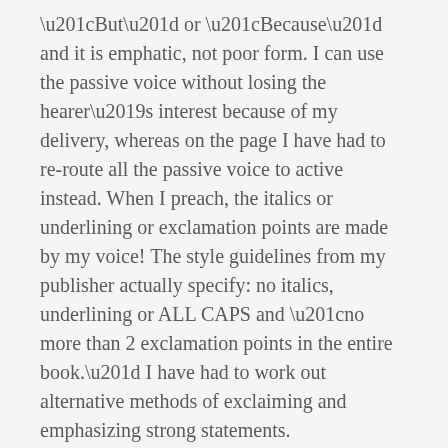“But” or “Because” and it is emphatic, not poor form. I can use the passive voice without losing the hearer’s interest because of my delivery, whereas on the page I have had to re-route all the passive voice to active instead. When I preach, the italics or underlining or exclamation points are made by my voice! The style guidelines from my publisher actually specify: no italics, underlining or ALL CAPS and “no more than 2 exclamation points in the entire book.” I have had to work out alternative methods of exclaiming and emphasizing strong statements.
A Writer Needs Readers
Other readers have been a very helpful part of the editing process. First Stefan read the book in its entirety, offering encouragement and constructive criticism. I sent out half of the chapters (the ones I was most concerned about) after editing for grammar, to friends who are themselves clergy